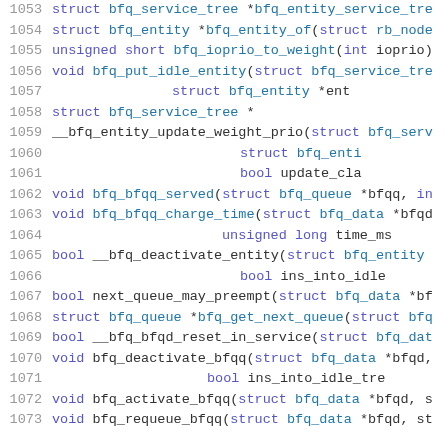Source code listing lines 1053-1073, C kernel BFQ scheduler header declarations